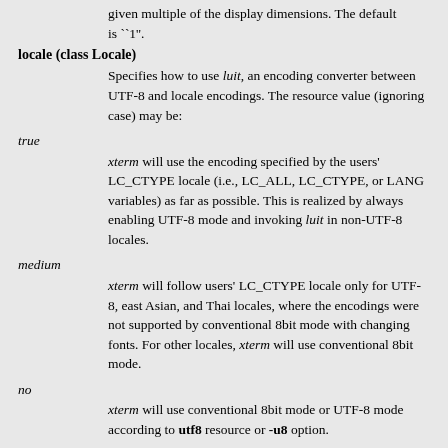given multiple of the display dimensions. The default is ``1".
locale (class Locale)
Specifies how to use luit, an encoding converter between UTF-8 and locale encodings. The resource value (ignoring case) may be:
true
xterm will use the encoding specified by the users' LC_CTYPE locale (i.e., LC_ALL, LC_CTYPE, or LANG variables) as far as possible. This is realized by always enabling UTF-8 mode and invoking luit in non-UTF-8 locales.
medium
xterm will follow users' LC_CTYPE locale only for UTF-8, east Asian, and Thai locales, where the encodings were not supported by conventional 8bit mode with changing fonts. For other locales, xterm will use conventional 8bit mode.
no
xterm will use conventional 8bit mode or UTF-8 mode according to utf8 resource or -u8 option.
Any other value, e.g., ``UTF-8'' or ``ISO8859-2'', is assumed to be an encoding name; luit will be invoked to support the encoding. The actual list of